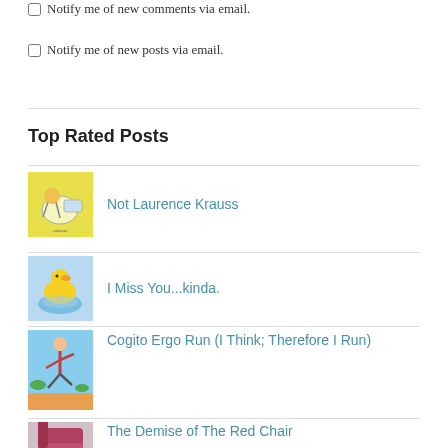Notify me of new comments via email.
Notify me of new posts via email.
Top Rated Posts
Not Laurence Krauss
I Miss You...kinda.
Cogito Ergo Run (I Think; Therefore I Run)
The Demise of The Red Chair